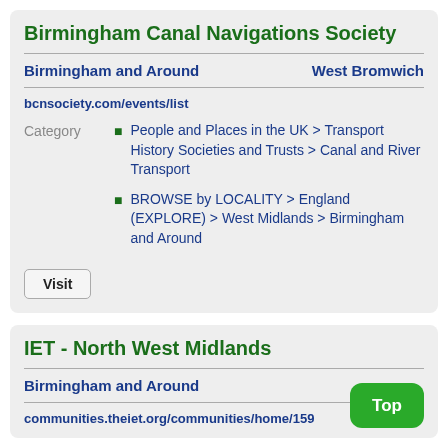Birmingham Canal Navigations Society
Birmingham and Around    West Bromwich
bcnsociety.com/events/list
Category
People and Places in the UK > Transport History Societies and Trusts > Canal and River Transport
BROWSE by LOCALITY > England (EXPLORE) > West Midlands > Birmingham and Around
Visit
IET - North West Midlands
Birmingham and Around
communities.theiet.org/communities/home/159
Top